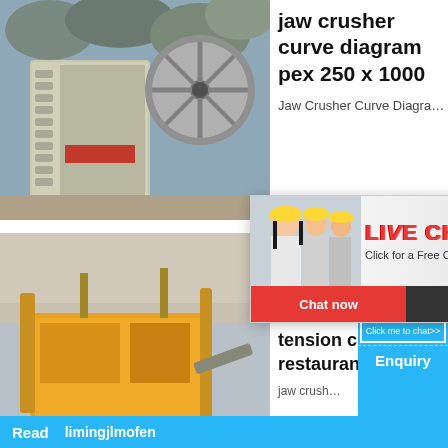[Figure (photo): Jaw crusher machine with large flywheel and crusher body, rocks in background, red sticker visible on body]
jaw crusher curve diagram pex 250 x 1000
Jaw Crusher Curve Diagra...
[Figure (photo): Live chat popup with construction workers in yellow hard hats. Red LIVE CHAT text. 'Click for a Free Consultation'. Chat now (red button) and Chat later (dark button). Close X button top right.]
[Figure (photo): Right side blue panel with 'hour online' text, image of a crusher machine, 'Click me to chat>>' button, 'Enquiry' text, 'Read' and 'limingjlmofen' text]
[Figure (photo): Yellow industrial crusher/screening machine at a quarry site]
tension crusher restaurant
jaw crush...
Read   limingjlmofen